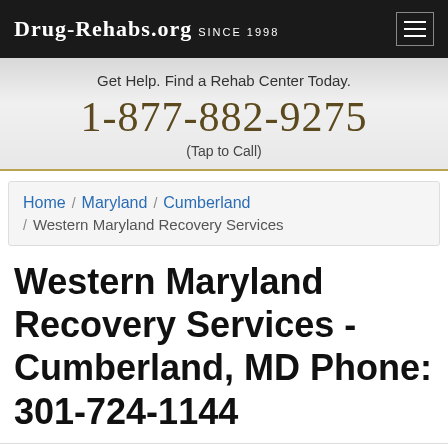Drug-Rehabs.org Since 1998
Get Help. Find a Rehab Center Today.
1-877-882-9275
(Tap to Call)
Home / Maryland / Cumberland / Western Maryland Recovery Services
Western Maryland Recovery Services - Cumberland, MD Phone: 301-724-1144
Western Maryland Recovery Services